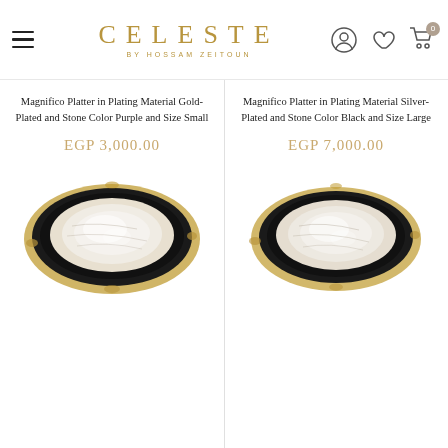CELESTE BY HOSSAM ZEITOUN
Magnifico Platter in Plating Material Gold-Plated and Stone Color Purple and Size Small
EGP 3,000.00
[Figure (photo): Agate stone platter with black and white natural stone pattern and gold-plated edge trim, viewed from above]
Magnifico Platter in Plating Material Silver-Plated and Stone Color Black and Size Large
EGP 7,000.00
[Figure (photo): Agate stone platter with black and white natural stone pattern and gold-plated edge trim, viewed from above, larger size]